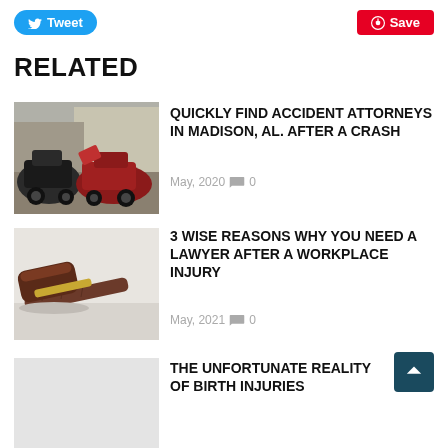[Figure (other): Twitter Tweet button (blue rounded rectangle)]
[Figure (other): Pinterest Save button (red rectangle)]
RELATED
[Figure (photo): Photo of two cars in a collision/crash scene]
QUICKLY FIND ACCIDENT ATTORNEYS IN MADISON, AL. AFTER A CRASH
May, 2020  0
[Figure (photo): Photo of a wooden gavel on a surface]
3 WISE REASONS WHY YOU NEED A LAWYER AFTER A WORKPLACE INJURY
May, 2021  0
[Figure (other): Back to top button (dark teal square with up arrow)]
[Figure (photo): Light gray placeholder photo area for birth injuries article]
THE UNFORTUNATE REALITY OF BIRTH INJURIES